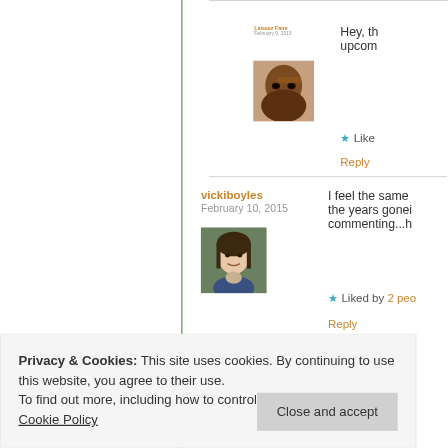Laissez Faire
February 9, 2015
[Figure (photo): Close-up portrait photo of a person with dark skin, close-up face shot]
Hey, th
upcom
★ Like
Reply
vickiboyles
February 10, 2015
[Figure (photo): Portrait photo of a woman with light skin and dark hair outdoors]
I feel the same
the years gonei
commenting...h
★ Liked by 2 peo
Reply
Privacy & Cookies: This site uses cookies. By continuing to use this website, you agree to their use.
To find out more, including how to control cookies, see here:
Cookie Policy
Close and accept